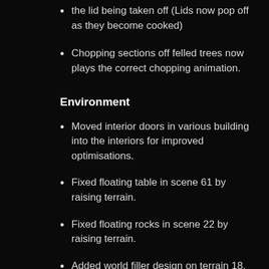the lid being taken off (Lids now pop off as they become cooked)
Chopping sections off felled trees now plays the correct chopping animation.
Environment
Moved interior doors in various building into the interiors for improved optimisations.
Fixed floating table in scene 61 by raising terrain.
Fixed floating rocks in scene 22 by raising terrain.
Added world filler design on terrain 18.